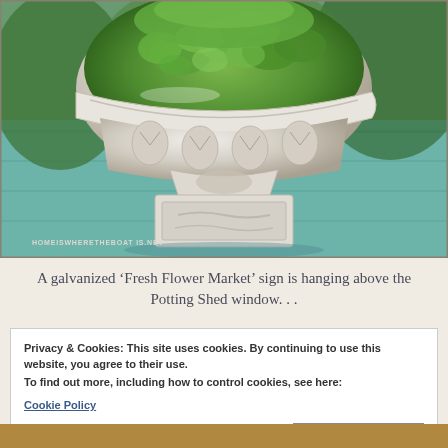[Figure (photo): Close-up photograph of a decorative white cast iron urn filled with lush green moss, sitting on a mint/teal painted wooden surface. The urn has ornate relief patterns. A watermark reads HOMEISWHERETHEBOAT IS.NET at the bottom left.]
A galvanized ‘Fresh Flower Market’ sign is hanging above the Potting Shed window. . .
Privacy & Cookies: This site uses cookies. By continuing to use this website, you agree to their use.
To find out more, including how to control cookies, see here:
Cookie Policy
Close and accept